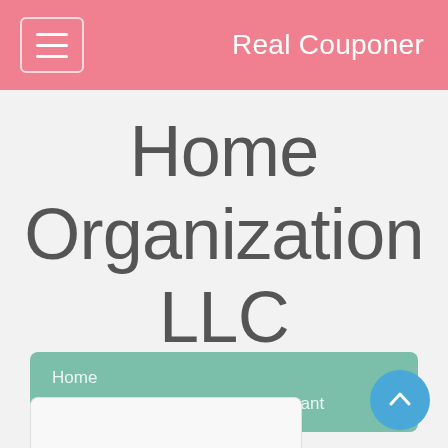Real Couponer
Home Organization LLC Merchant
Home / Home Organization LLC Merchant